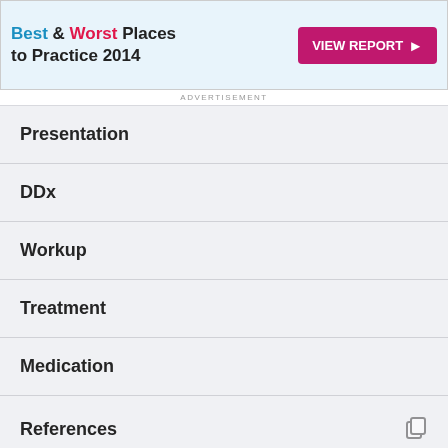[Figure (other): Advertisement banner: Best & Worst Places to Practice 2014 with VIEW REPORT button]
ADVERTISEMENT
Presentation
DDx
Workup
Treatment
Medication
References
What to Read Next on Medscape